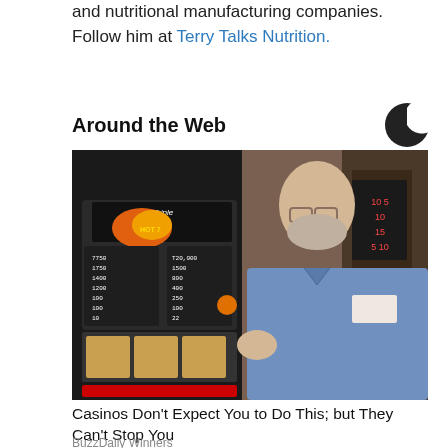and nutritional manufacturing companies. Follow him at Terry Talks Nutrition.
Around the Web
[Figure (photo): Man in light blue shirt posing next to a Triple Hot 7 slot machine in a casino]
Casinos Don't Expect You to Do This; but They Can't Stop You
BuzzDaily Winners